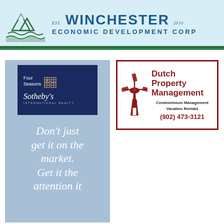[Figure (logo): Winchester Economic Development Corp banner with mountain and wave logo. EST. WINCHESTER 2010 ECONOMIC DEVELOPMENT CORP]
[Figure (illustration): Four Seasons Sotheby's International Realty advertisement. Blue background with dark navy logo box. Tagline: Don't just get it on the market. Get it the attention it]
[Figure (logo): Dutch Property Management advertisement with windmill illustration. Text: Dutch Property Management, Condominium Management, Vacation Rentals, (802) 473-3121]